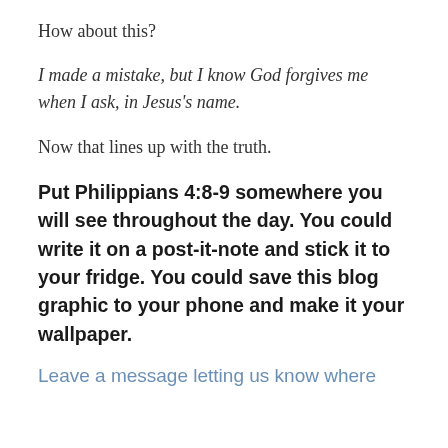How about this?
I made a mistake, but I know God forgives me when I ask, in Jesus's name.
Now that lines up with the truth.
Put Philippians 4:8-9 somewhere you will see throughout the day. You could write it on a post-it-note and stick it to your fridge. You could save this blog graphic to your phone and make it your wallpaper.
Leave a message letting us know where